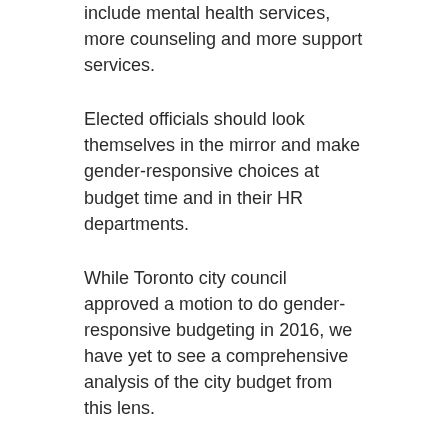include mental health services, more counseling and more support services.
Elected officials should look themselves in the mirror and make gender-responsive choices at budget time and in their HR departments.
While Toronto city council approved a motion to do gender-responsive budgeting in 2016, we have yet to see a comprehensive analysis of the city budget from this lens.
In Ontario, a motion was passed to require the provincial government to incorporate an intersectional gender equity perspective in the 2017-18 budget but there was no bill created to implement the motion.